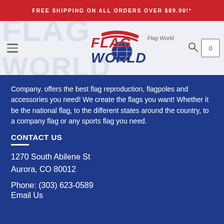FREE SHIPPING ON ALL ORDERS OVER $89.90!*
[Figure (logo): Flag World logo with red and blue text and American flag globe graphic, navigation hamburger menu, search icon, and cart icon with 0]
Company. offers the best flag reproduction, flagpoles and accessories you need! We create the flags you want! Whether it be the national flag, to the different states around the country, to a company flag or any sports flag you need.
CONTACT US
1270 South Abilene St
Aurora, CO 80012
Phone: (303) 623-0589
Email Us